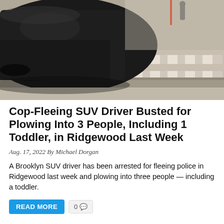[Figure (photo): Surveillance camera footage of a dark-colored SUV at a street intersection with a crosswalk visible on the right side. The image appears to be from a security camera at an elevated angle.]
Cop-Fleeing SUV Driver Busted for Plowing Into 3 People, Including 1 Toddler, in Ridgewood Last Week
Aug. 17, 2022 By Michael Dorgan
A Brooklyn SUV driver has been arrested for fleeing police in Ridgewood last week and plowing into three people — including a toddler.
READ MORE  0